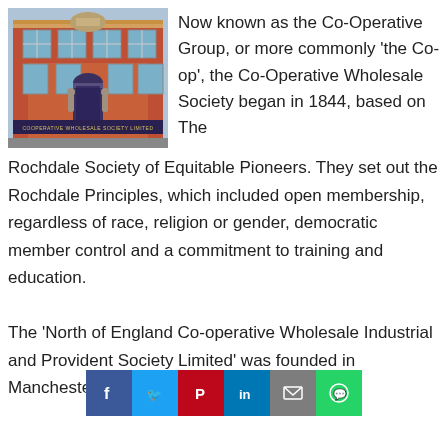[Figure (photo): Photograph of the Co-operative Wholesale Society building, a red brick Victorian building with an arched entrance and signage reading 'COOPERATIVE WHOLESALE SOCIETY LIMITED']
Now known as the Co-Operative Group, or more commonly 'the Co-op', the Co-Operative Wholesale Society began in 1844, based on The Rochdale Society of Equitable Pioneers. They set out the Rochdale Principles, which included open membership, regardless of race, religion or gender, democratic member control and a commitment to training and education.
The 'North of England Co-operative Wholesale Industrial and Provident Society Limited' was founded in Manchester in 1863, made up of 300
[Figure (infographic): Social media sharing bar with icons for Facebook, Twitter, Pinterest, LinkedIn, Email, and WhatsApp]